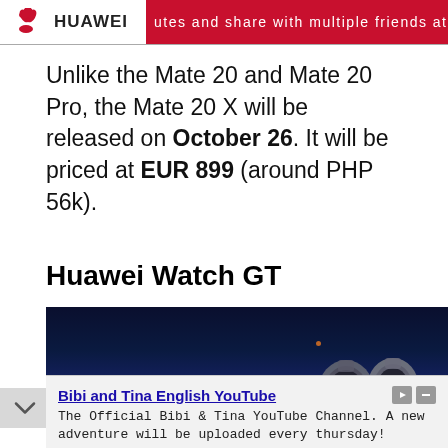HUAWEI | utes and share with multiple friends at the s
Unlike the Mate 20 and Mate 20 Pro, the Mate 20 X will be released on October 26. It will be priced at EUR 899 (around PHP 56k).
Huawei Watch GT
[Figure (photo): Dark stage photo showing Huawei Watch GT smartwatches on display, with deep blue stage lighting background]
Bibi and Tina English YouTube
The Official Bibi & Tina YouTube Channel. A new adventure will be uploaded every thursday!
Bibi and Tina  Subscribe